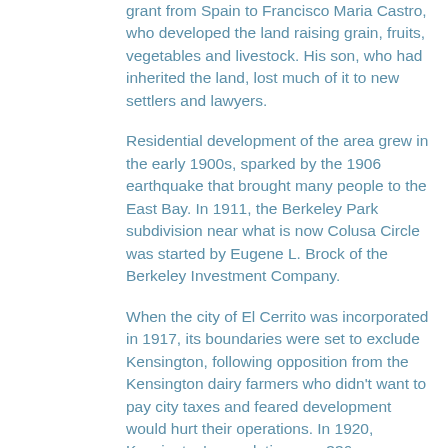grant from Spain to Francisco Maria Castro, who developed the land raising grain, fruits, vegetables and livestock. His son, who had inherited the land, lost much of it to new settlers and lawyers.
Residential development of the area grew in the early 1900s, sparked by the 1906 earthquake that brought many people to the East Bay. In 1911, the Berkeley Park subdivision near what is now Colusa Circle was started by Eugene L. Brock of the Berkeley Investment Company.
When the city of El Cerrito was incorporated in 1917, its boundaries were set to exclude Kensington, following opposition from the Kensington dairy farmers who didn't want to pay city taxes and feared development would hurt their operations. In 1920, Kensington's population was 336...